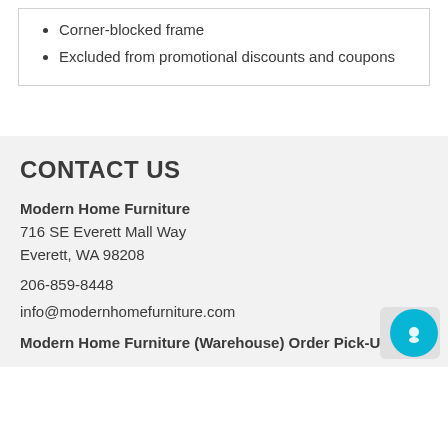Corner-blocked frame
Excluded from promotional discounts and coupons
CONTACT US
Modern Home Furniture
716 SE Everett Mall Way
Everett, WA 98208
206-859-8448
info@modernhomefurniture.com
Modern Home Furniture (Warehouse) Order Pick-Up Only